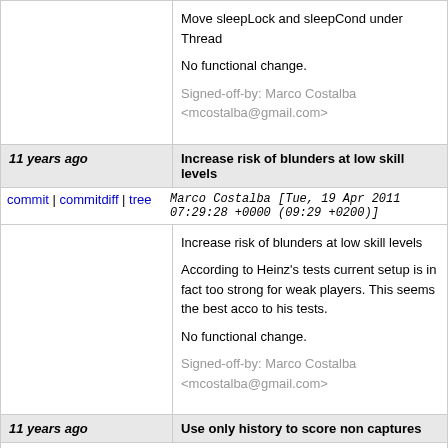Move sleepLock and sleepCond under Thread

No functional change.

Signed-off-by: Marco Costalba <mcostalba@gmail.com>
11 years ago	Increase risk of blunders at low skill levels
commit | commitdiff | tree	Marco Costalba [Tue, 19 Apr 2011 07:29:28 +0000 (09:29 +0200)]
Increase risk of blunders at low skill levels

According to Heinz's tests current setup is in fact too strong for weak players. This seems the best acco... to his tests.

No functional change.

Signed-off-by: Marco Costalba <mcostalba@gmail.com>
11 years ago	Use only history to score non captures
commit | commitdiff | tree	Marco Costalba [Sat, 16 Apr 2011 09:25:22 +0000 (10:25 +0100)]
Use only history to score non captures

It seems gain is practically unuseful, so remove...